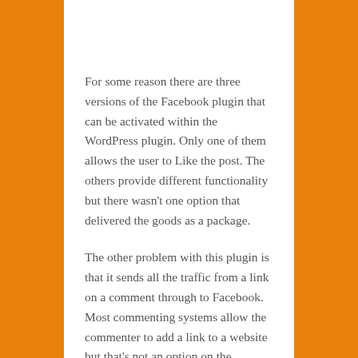For some reason there are three versions of the Facebook plugin that can be activated within the WordPress plugin. Only one of them allows the user to Like the post. The others provide different functionality but there wasn't one option that delivered the goods as a package.
The other problem with this plugin is that it sends all the traffic from a link on a comment through to Facebook. Most commenting systems allow the commenter to add a link to a website but that's not an option on the Facebook Comments plugin. For anyone using commenting as a way to build web traffic it's an out-and-out fail.